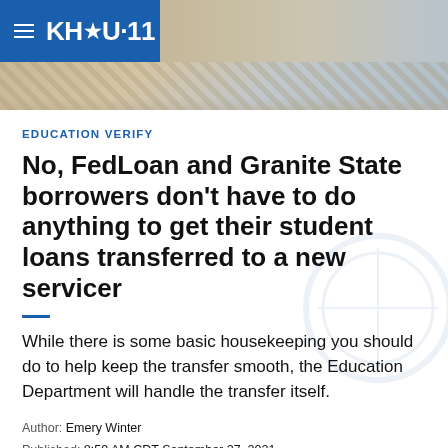KHOU 11
[Figure (photo): Partial view of currency/dollar bills, used as hero image behind header area]
EDUCATION VERIFY
No, FedLoan and Granite State borrowers don't have to do anything to get their student loans transferred to a new servicer
While there is some basic housekeeping you should do to help keep the transfer smooth, the Education Department will handle the transfer itself.
Author: Emery Winter
Published: 8:59 AM CDT September 27, 2021
Updated: 4:15 PM CDT September 28, 2021